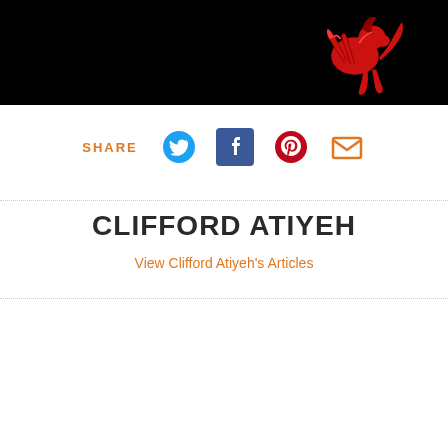[Figure (photo): Black background header image with a red Ferrari prancing horse logo/illustration in the upper right area]
SHARE
[Figure (infographic): Social share icons row: Twitter (blue bird), Facebook (blue F), Pinterest (red circle with P), Email (orange envelope)]
CLIFFORD ATIYEH
View Clifford Atiyeh's Articles